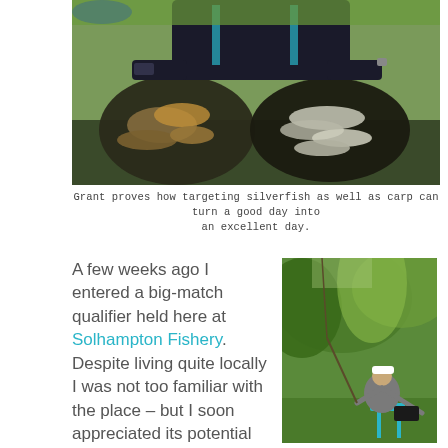[Figure (photo): A person sitting on grass holding two large keepnets full of fish — bream/tench in one net and silverfish/roach in the other, at a fishery lakeside.]
Grant proves how targeting silverfish as well as carp can turn a good day into an excellent day.
A few weeks ago I entered a big-match qualifier held here at Solhampton Fishery. Despite living quite locally I was not too familiar with the place – but I soon appreciated its potential after five
[Figure (photo): A angler sitting on a fishing chair beside a lake with trees in the background, holding a pole rod and fishing.]